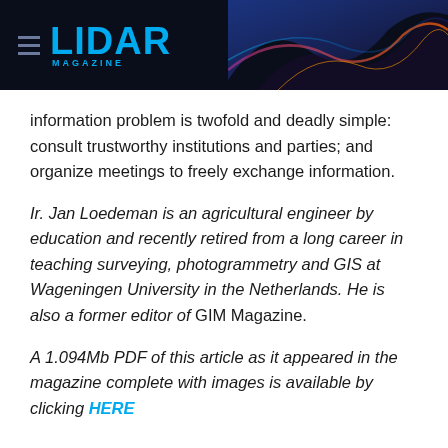LIDAR MAGAZINE
information problem is twofold and deadly simple: consult trustworthy institutions and parties; and organize meetings to freely exchange information.
Ir. Jan Loedeman is an agricultural engineer by education and recently retired from a long career in teaching surveying, photogrammetry and GIS at Wageningen University in the Netherlands. He is also a former editor of GIM Magazine.
A 1.094Mb PDF of this article as it appeared in the magazine complete with images is available by clicking HERE